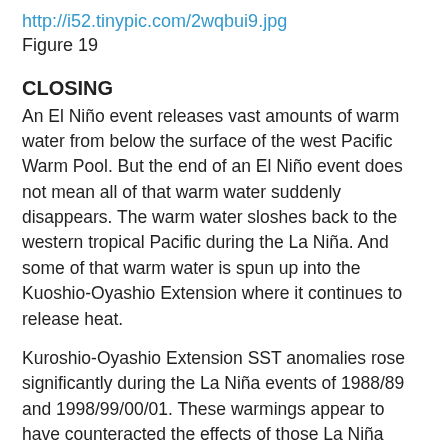http://i52.tinypic.com/2wqbui9.jpg
Figure 19
CLOSING
An El Niño event releases vast amounts of warm water from below the surface of the west Pacific Warm Pool. But the end of an El Niño event does not mean all of that warm water suddenly disappears. The warm water sloshes back to the western tropical Pacific during the La Niña. And some of that warm water is spun up into the Kuoshio-Oyashio Extension where it continues to release heat.
Kuroshio-Oyashio Extension SST anomalies rose significantly during the La Niña events of 1988/89 and 1998/99/00/01. These warmings appear to have counteracted the effects of those La Niña events on North Atlantic SST anomalies, and on Lower Troposphere Temperature anomalies north of 20N, and on combined Land-Ocean temperature anomalies of the Northern Hemisphere between the latitudes of 20N-65N. During the 1997/98 El Niño, the drop in Kuroshio-Oyashio Extension SST anomalies was very small and the KOE does not